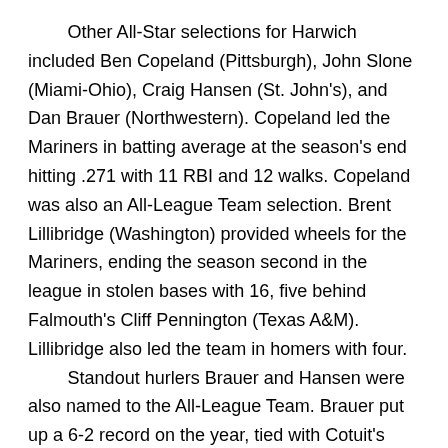Other All-Star selections for Harwich included Ben Copeland (Pittsburgh), John Slone (Miami-Ohio), Craig Hansen (St. John's), and Dan Brauer (Northwestern). Copeland led the Mariners in batting average at the season's end hitting .271 with 11 RBI and 12 walks. Copeland was also an All-League Team selection. Brent Lillibridge (Washington) provided wheels for the Mariners, ending the season second in the league in stolen bases with 16, five behind Falmouth's Cliff Pennington (Texas A&M). Lillibridge also led the team in homers with four.
	Standout hurlers Brauer and Hansen were also named to the All-League Team. Brauer put up a 6-2 record on the year, tied with Cotuit's Ryan Calahan (Florida Southern) for the league lead in wins. Brauer finished the season with a 1.90 ERA and tied for second in the league in strikeouts with 65, allowing only 20 walks.
	After Brauer started on the hill, Hansen came in to finish it off. Hansen was second in the league in saves with 10, one behind Wareham's Kevin Whelan (Texas A&M). Hansen was 1-1 with a 0.00 ERA in...